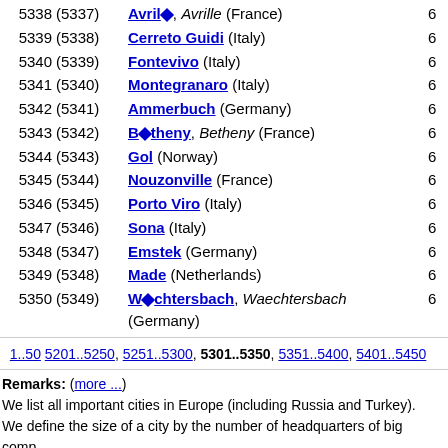5338 (5337) Avril◆, Avrille (France) 6
5339 (5338) Cerreto Guidi (Italy) 6
5340 (5339) Fontevivo (Italy) 6
5341 (5340) Montegranaro (Italy) 6
5342 (5341) Ammerbuch (Germany) 6
5343 (5342) B◆theny, Betheny (France) 6
5344 (5343) Gol (Norway) 6
5345 (5344) Nouzonville (France) 6
5346 (5345) Porto Viro (Italy) 6
5347 (5346) Sona (Italy) 6
5348 (5347) Emstek (Germany) 6
5349 (5348) Made (Netherlands) 6
5350 (5349) W◆chtersbach, Waechtersbach (Germany) 6
1..50 5201..5250, 5251..5300, 5301..5350, 5351..5400, 5401..5450
Remarks: (more ...) We list all important cities in Europe (including Russia and Turkey). We define the size of a city by the number of headquarters of big companies. Big companies must have at least one million Euro annual sales. For Questions, hints, compliments, suggestions please use the forum (in German).
Pageviews (whole Database) since 1998-04